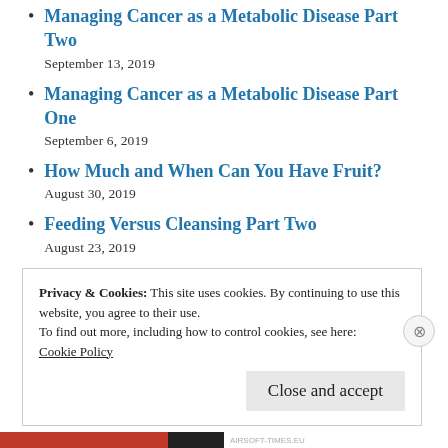Managing Cancer as a Metabolic Disease Part Two
September 13, 2019
Managing Cancer as a Metabolic Disease Part One
September 6, 2019
How Much and When Can You Have Fruit?
August 30, 2019
Feeding Versus Cleansing Part Two
August 23, 2019
Privacy & Cookies: This site uses cookies. By continuing to use this website, you agree to their use.
To find out more, including how to control cookies, see here:
Cookie Policy
Close and accept